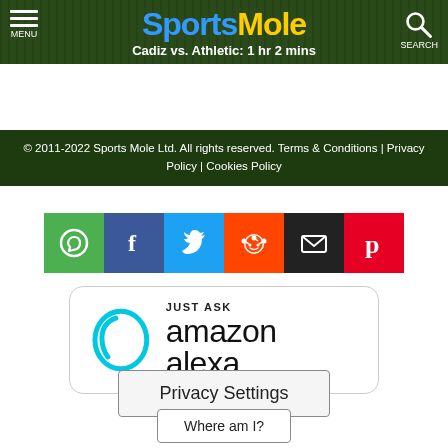Sports Mole — Cadiz vs. Athletic: 1 hr 2 mins
© 2011-2022 Sports Mole Ltd. All rights reserved. Terms & Conditions | Privacy Policy | Cookies Policy
[Figure (infographic): Row of six social share buttons: WhatsApp (green), Facebook (blue), Twitter (light blue), Reddit (orange/alien), Email (black), Pinterest (red)]
[Figure (logo): Just Ask Amazon Alexa promotional banner with Alexa ring logo]
Privacy Settings
Where am I?